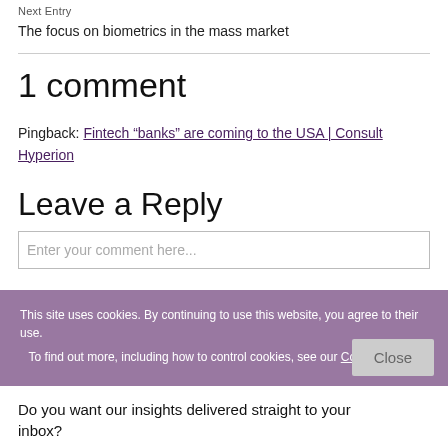Next Entry
The focus on biometrics in the mass market
1 comment
Pingback: Fintech “banks” are coming to the USA | Consult Hyperion
Leave a Reply
Enter your comment here...
This site uses cookies. By continuing to use this website, you agree to their use. To find out more, including how to control cookies, see our Cookies Policy
Do you want our insights delivered straight to your inbox?